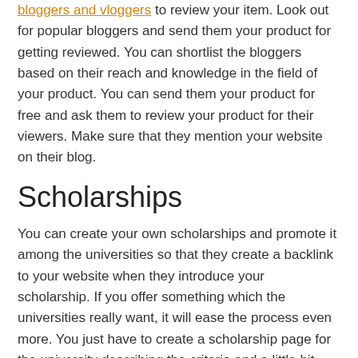bloggers and vloggers to review your item. Look out for popular bloggers and send them your product for getting reviewed. You can shortlist the bloggers based on their reach and knowledge in the field of your product. You can send them your product for free and ask them to review your product for their viewers. Make sure that they mention your website on their blog.
Scholarships
You can create your own scholarships and promote it among the universities so that they create a backlink to your website when they introduce your scholarship. If you offer something which the universities really want, it will ease the process even more. You just have to create a scholarship page for the university describing the criteria and a little bit about your company. Once a university accepts your proposal for a scholarship, you are good to go to receive a